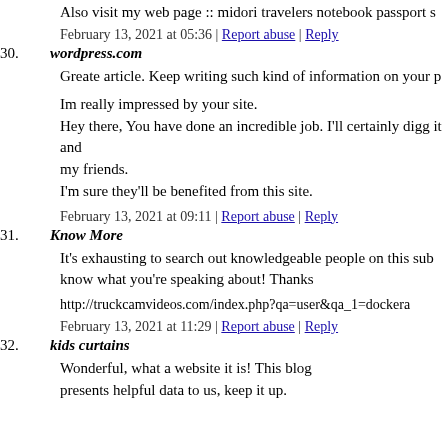Also visit my web page :: midori travelers notebook passport s
February 13, 2021 at 05:36 | Report abuse | Reply
30. wordpress.com
Greate article. Keep writing such kind of information on your p
Im really impressed by your site.
Hey there, You have done an incredible job. I'll certainly digg it and my friends.
I'm sure they'll be benefited from this site.
February 13, 2021 at 09:11 | Report abuse | Reply
31. Know More
It's exhausting to search out knowledgeable people on this sub know what you're speaking about! Thanks
http://truckcamvideos.com/index.php?qa=user&qa_1=dockera
February 13, 2021 at 11:29 | Report abuse | Reply
32. kids curtains
Wonderful, what a website it is! This blog presents helpful data to us, keep it up.